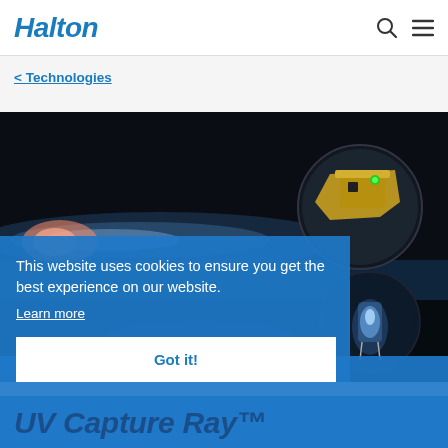Halton
< Technologies
[Figure (photo): Hero image showing UV light technology — a glowing blue-lit surface with circular inset images showing technical components including a yellow device and glowing blue LED elements against a dark background.]
This website uses cookies to ensure you get the best experience on our website. Learn more
Got it!
UV Capture Ray™